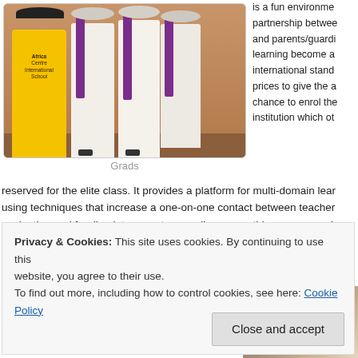[Figure (photo): Photo of school graduates in white robes with purple sashes, one student in a yellow outfit on the left, standing in front of a brown wall]
Grads
is a fun environment, partnership between and parents/guardi learning become a international standa prices to give the a chance to enrol the institution which oth
reserved for the elite class. It provides a platform for multi-domain lear using techniques that increase a one-on-one contact between teacher evaluation and feedback to parents as well as a monthly one-on-one i and parent/guardian. Pinnacle of Success International School ten yea one of the leaders of education in Yaounde, Cameroon and Africa at la
When asked why the couple both decided to settle and invest in Cameroon considering all
[Figure (photo): Partial photo on the lower right showing a classroom or indoor school setting]
Privacy & Cookies: This site uses cookies. By continuing to use this website, you agree to their use.
To find out more, including how to control cookies, see here: Cookie Policy
Close and accept